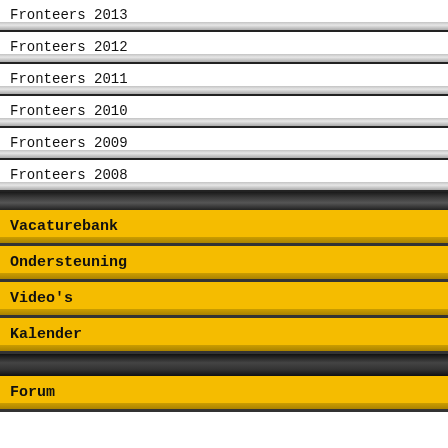Fronteers 2013
Fronteers 2012
Fronteers 2011
Fronteers 2010
Fronteers 2009
Fronteers 2008
Vacaturebank
Ondersteuning
Video's
Kalender
Forum